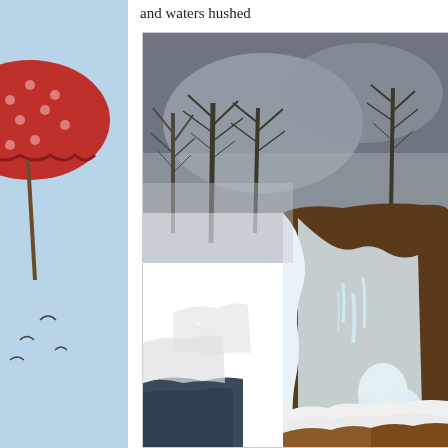and waters hushed
[Figure (photo): Left edge photo: partial view of a red polka-dot umbrella held by a person against a light blue winter sky with birds flying in the background]
[Figure (photo): Large main photo: frozen waterfall landscape in winter. Rocky waterfall covered in ice and snow, bare trees in foggy grey background, icicles and ice formations on rocks, water still flowing beneath ice, brownish-orange rock visible under ice and snow at bottom.]